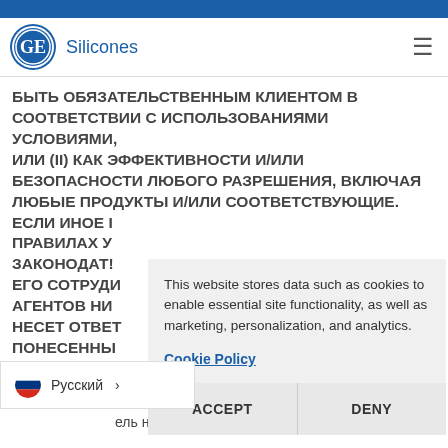GE Silicones
БЫТЬ ОБЯЗАТЕЛЬСТВЕННЫМ КЛИЕНТОМ В СООТВЕТСТВИИ С ИСПОЛЬЗОВАНИЯМИ УСЛОВИЯМИ, ИЛИ (ii) КАК ЭФФЕКТИВНОСТИ И/ИЛИ БЕЗОПАСНОСТИ ЛЮБОГО РАЗРЕШЕНИЯ, ВКЛЮЧАЯ ЛЮБЫЕ ПРОДУКТЫ И/ИЛИ СООТВЕТСТВУЮЩИЕ. ЕСЛИ ИНОЕ ПРАВИЛАХ У ЗАКОНОДАТЬ ЕГО СОТРУДИ АГЕНТОВ НИ НЕСЕТ ОТВЕ ПОНЕСЕННЫ И/ИЛИ ИСПО НА САЙТЕ.
This website stores data such as cookies to enable essential site functionality, as well as marketing, personalization, and analytics.
Cookie Policy
ACCEPT   DENY
Русский
ь несет единоличную